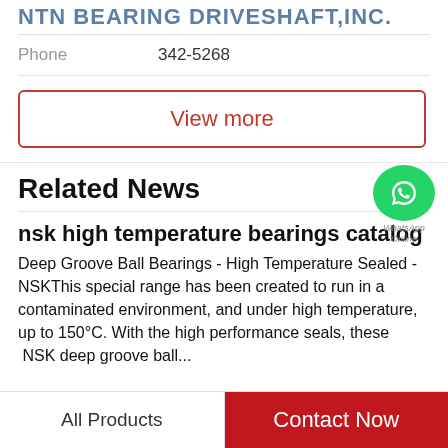NTN BEARING DRIVESHAFT,INC.
Phone    342-5268
View more
Related News
[Figure (logo): WhatsApp green circle icon with phone handset symbol, with text 'WhatsApp Online' below]
nsk high temperature bearings catalog
Deep Groove Ball Bearings - High Temperature Sealed - NSKThis special range has been created to run in a contaminated environment, and under high temperature, up to 150°C. With the high performance seals, these  NSK deep groove ball...
All Products    Contact Now